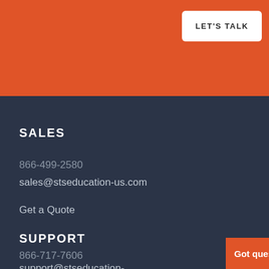[Figure (other): Orange header banner background]
LET'S TALK
SALES
866-499-2580
sales@stseducation-us.com
Get a Quote
SUPPORT
866-717-7606
support@stseducation-
Got questions?